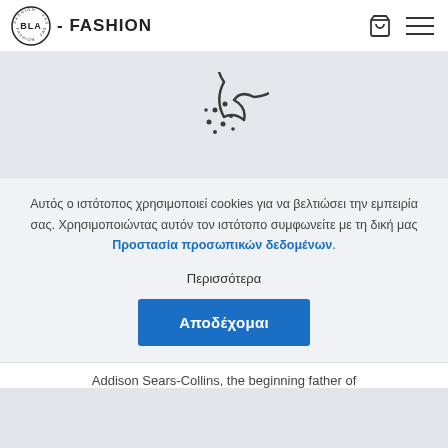BLA - FASHION
[Figure (illustration): Cookie icon — a round cookie with a bite taken out of the upper right, with dots scattered across it, outlined in dark grey]
Αυτός ο ιστότοπος χρησιμοποιεί cookies για να βελτιώσει την εμπειρία σας. Χρησιμοποιώντας αυτόν τον ιστότοπο συμφωνείτε με τη δική μας Προστασία προσωπικών δεδομένων.
Περισσότερα
Αποδέχομαι
Addison Sears-Collins, the beginning father of